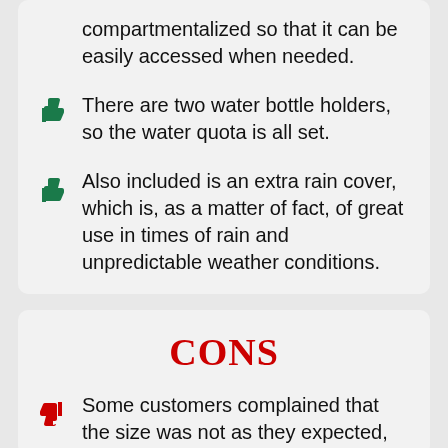compartmentalized so that it can be easily accessed when needed.
There are two water bottle holders, so the water quota is all set.
Also included is an extra rain cover, which is, as a matter of fact, of great use in times of rain and unpredictable weather conditions.
CONS
Some customers complained that the size was not as they expected,